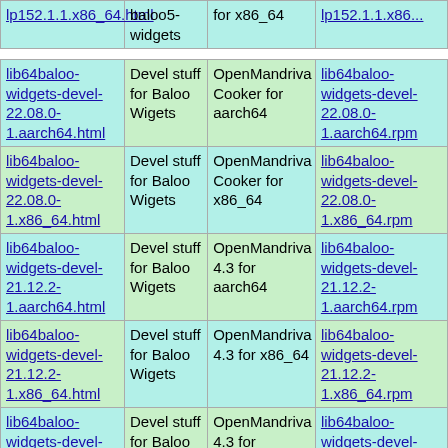| Package | Description | Distro | RPM |
| --- | --- | --- | --- |
| lp152.1.1.x86_64.html | baloo5-widgets | for x86_64 | lp152.1.1.x86... |
| lib64baloo-widgets-devel-22.08.0-1.aarch64.html | Devel stuff for Baloo Wigets | OpenMandriva Cooker for aarch64 | lib64baloo-widgets-devel-22.08.0-1.aarch64.rpm |
| lib64baloo-widgets-devel-22.08.0-1.x86_64.html | Devel stuff for Baloo Wigets | OpenMandriva Cooker for x86_64 | lib64baloo-widgets-devel-22.08.0-1.x86_64.rpm |
| lib64baloo-widgets-devel-21.12.2-1.aarch64.html | Devel stuff for Baloo Wigets | OpenMandriva 4.3 for aarch64 | lib64baloo-widgets-devel-21.12.2-1.aarch64.rpm |
| lib64baloo-widgets-devel-21.12.2-1.x86_64.html | Devel stuff for Baloo Wigets | OpenMandriva 4.3 for x86_64 | lib64baloo-widgets-devel-21.12.2-1.x86_64.rpm |
| lib64baloo-widgets-devel-21.12.1-1.aarch64.html | Devel stuff for Baloo Wigets | OpenMandriva 4.3 for aarch64 | lib64baloo-widgets-devel-21.12.1-1.aarch64.rpm |
| lib64baloo- | Devel |  | lib64baloo- |